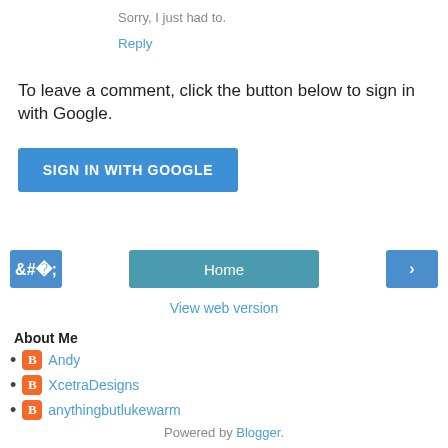Sorry, I just had to.
Reply
To leave a comment, click the button below to sign in with Google.
[Figure (other): SIGN IN WITH GOOGLE button - blue rectangular button with white text]
[Figure (other): Navigation row with left arrow button, Home center button, right arrow button]
View web version
About Me
Andy
XcetraDesigns
anythingbutlukewarm
Powered by Blogger.